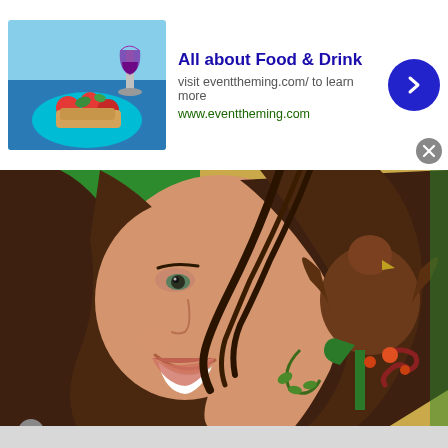[Figure (screenshot): Top ad card: thumbnail of food (bruschetta with tomatoes and wine glass) on left, text 'All about Food & Drink' with URL and close/next buttons]
All about Food & Drink
visit eventtheming.com/ to learn more
www.eventtheming.com
[Figure (photo): Large center image: smiling brunette woman with hair blowing across face, Mexican eagle emblem on golden background to the right]
[Figure (screenshot): Bottom ad card: thumbnail of food (bruschetta with tomatoes and wine glass) on left, text 'All about Food & Drink' with URL and next button]
All about Food & Drink
visit eventtheming.com/ to learn more
www.eventtheming.com